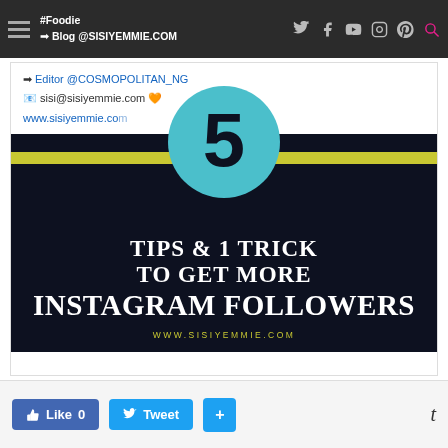#Foodie | Blog @SISIYEMMIE.COM
[Figure (infographic): Blog post featured image with teal circle showing number 5 on dark navy background with text: TIPS & 1 TRICK TO GET MORE INSTAGRAM FOLLOWERS, WWW.SISIYEMMIE.COM, yellow stripe accent]
➡Editor @COSMOPOLITAN_NG | sisi@sisiyemmie.com | www.sisiyemmie.com
Like 0 | Tweet | + | t